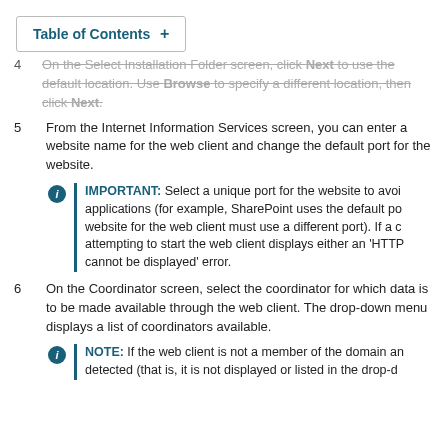Table of Contents +
4  On the Select Installation Folder screen, click Next to use the default location. Use Browse to specify a different location, then click Next.
5  From the Internet Information Services screen, you can enter a website name for the web client and change the default port for the website.
IMPORTANT: Select a unique port for the website to avoid applications (for example, SharePoint uses the default port, website for the web client must use a different port). If a client attempting to start the web client displays either an 'HTTP cannot be displayed' error.
6  On the Coordinator screen, select the coordinator for which data is to be made available through the web client. The drop-down menu displays a list of coordinators available.
NOTE: If the web client is not a member of the domain and detected (that is, it is not displayed or listed in the drop-d